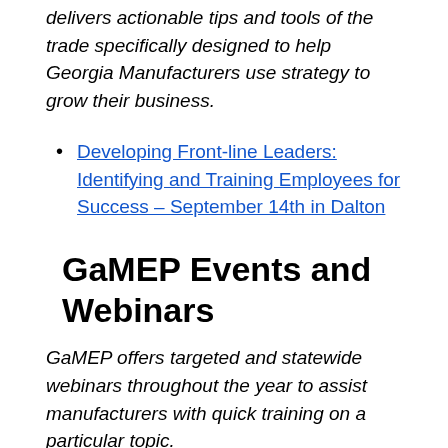delivers actionable tips and tools of the trade specifically designed to help Georgia Manufacturers use strategy to grow their business.
Developing Front-line Leaders: Identifying and Training Employees for Success – September 14th in Dalton
GaMEP Events and Webinars
GaMEP offers targeted and statewide webinars throughout the year to assist manufacturers with quick training on a particular topic.
Georgia Manufacturer & Connections